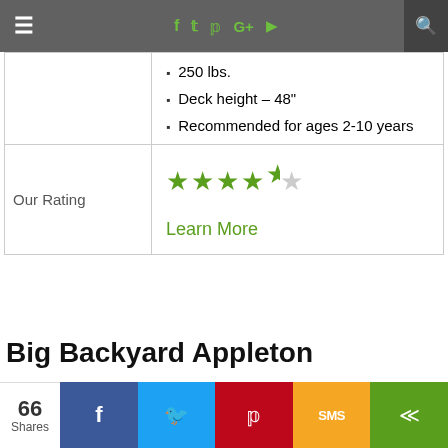Navigation bar with hamburger menu, social icons (f, twitter, pinterest, G+, youtube), and search
|  | 250 lbs.
Deck height – 48"
Recommended for ages 2-10 years |
| Our Rating | ★★★★½
Learn More |
Big Backyard Appleton
The Appleton swing set by Big Backyard
66 Shares | Facebook | Twitter | Pinterest | SMS | Share